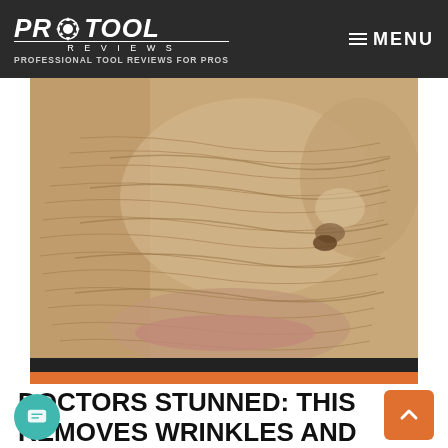PRO TOOL REVIEWS — PROFESSIONAL TOOL REVIEWS FOR PROS | MENU
[Figure (photo): Close-up photograph of an elderly person's face showing heavily wrinkled skin near the cheek and nose area, with visible fine lines and skin texture]
DOCTORS STUNNED: THIS REMOVES WRINKLES AND EYE-BAGS LIKE CRAZY (TRY TONIGHT!)